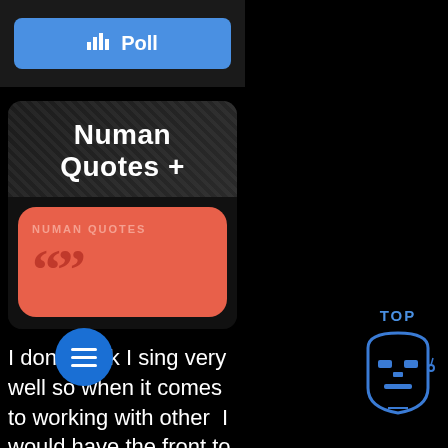[Figure (screenshot): Blue Poll button with bar chart icon on dark background]
[Figure (screenshot): Numan Quotes+ app icon card showing app name and red quotes icon box with large quotation marks]
I don't think I sing very well so when it comes to working with other I would have the front to put myself forward for any
[Figure (illustration): Blue circular FAB menu button with three horizontal lines]
[Figure (logo): TOP text with blue Gary Numan robot face logo icon in bottom right corner]